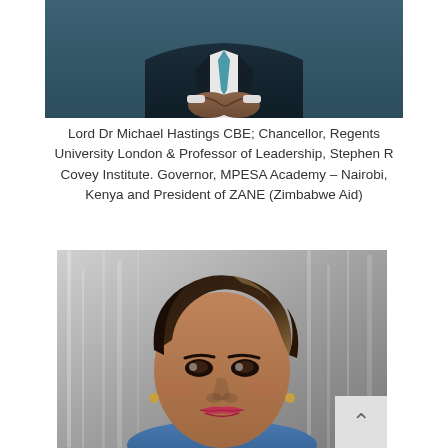[Figure (photo): Photo of Lord Dr Michael Hastings CBE, showing torso in dark suit with teal tie, hands clasped]
Lord Dr Michael Hastings CBE; Chancellor, Regents University London & Professor of Leadership, Stephen R Covey Institute. Governor, MPESA Academy – Nairobi, Kenya and President of ZANE (Zimbabwe Aid)
[Figure (photo): Portrait photo of a woman smiling, with short dark hair with highlights, wearing a blue outfit, against a waterfall background]